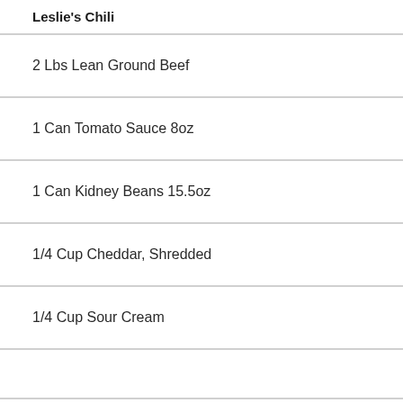Leslie's Chili
2 Lbs Lean Ground Beef
1 Can Tomato Sauce 8oz
1 Can Kidney Beans 15.5oz
1/4 Cup Cheddar, Shredded
1/4 Cup Sour Cream
Week 2